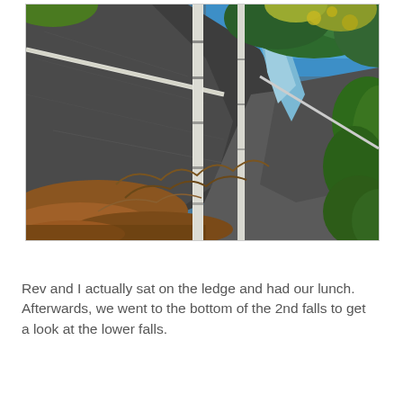[Figure (photo): Outdoor nature photograph showing birch trees with white bark in the foreground against large dark granite rock slabs. Green and yellow foliage visible at top with blue sky. Orange-brown fallen leaves on the ground. A waterfall or water stream visible in the background between the rocks and trees. Autumn scene in a forest.]
Rev and I actually sat on the ledge and had our lunch. Afterwards, we went to the bottom of the 2nd falls to get a look at the lower falls.